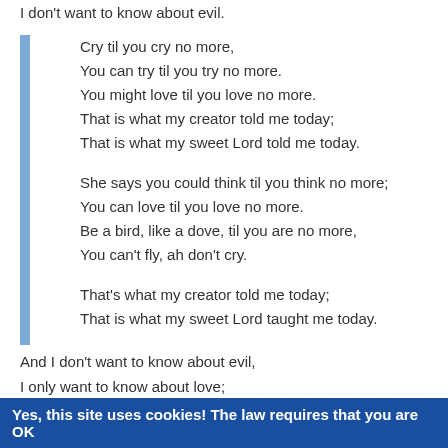I don't want to know about evil.
Cry til you cry no more,
You can try til you try no more.
You might love til you love no more.
That is what my creator told me today;
That is what my sweet Lord told me today.

She says you could think til you think no more;
You can love til you love no more.
Be a bird, like a dove, til you are no more,
You can't fly, ah don't cry.

That's what my creator told me today;
That is what my sweet Lord taught me today.
And I don't want to know about evil,
I only want to know about love;
I don't want to know first thing about evil,
I only want to know about love.
Don't tell me; don't tell me;
Yes, this site uses cookies! The law requires that you are OK